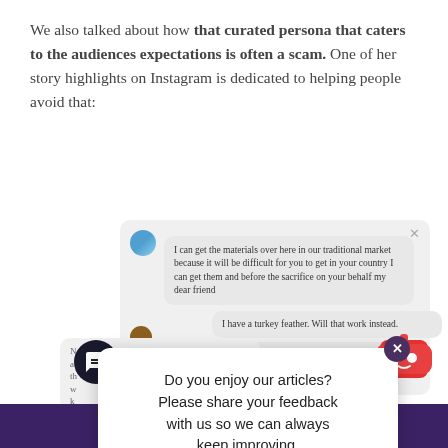We also talked about how that curated persona that caters to the audiences expectations is often a scam. One of her story highlights on Instagram is dedicated to helping people avoid that:
[Figure (screenshot): Screenshot of an Instagram/messaging app chat showing scam-related messages, overlaid with a popup asking for feedback ('Do you enjoy our articles? Please share your feedback with us so we can always keep improving.') and a dark purple footer bar reading 'Be notified of free courses and events'.]